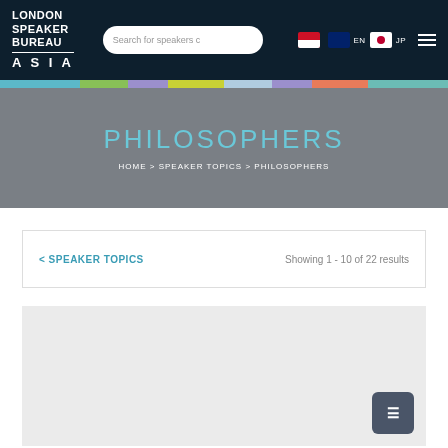LONDON SPEAKER BUREAU ASIA
PHILOSOPHERS
HOME > SPEAKER TOPICS > PHILOSOPHERS
< SPEAKER TOPICS    Showing 1 - 10 of 22 results
[Figure (screenshot): Speaker card placeholder area with a dark button icon in the bottom right corner]